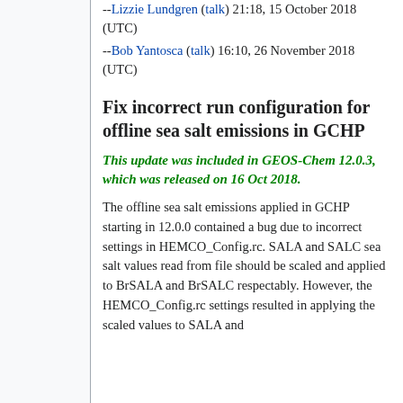--Lizzie Lundgren (talk) 21:18, 15 October 2018 (UTC)
--Bob Yantosca (talk) 16:10, 26 November 2018 (UTC)
Fix incorrect run configuration for offline sea salt emissions in GCHP
This update was included in GEOS-Chem 12.0.3, which was released on 16 Oct 2018.
The offline sea salt emissions applied in GCHP starting in 12.0.0 contained a bug due to incorrect settings in HEMCO_Config.rc. SALA and SALC sea salt values read from file should be scaled and applied to BrSALA and BrSALC respectably. However, the HEMCO_Config.rc settings resulted in applying the scaled values to SALA and